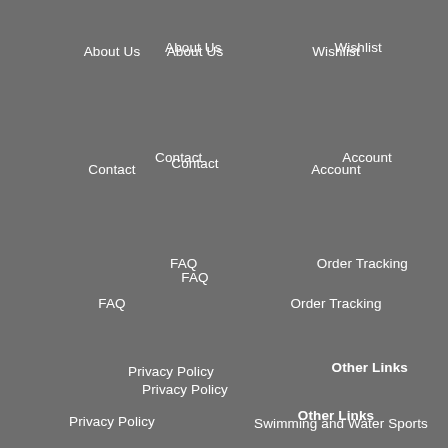About Us
Wishlist
Contact
Account
FAQ
Order Tracking
Privacy Policy
Other Links
Swimming and Water Sports
Religious and People Logos
Sports Logos
State and Government Logos